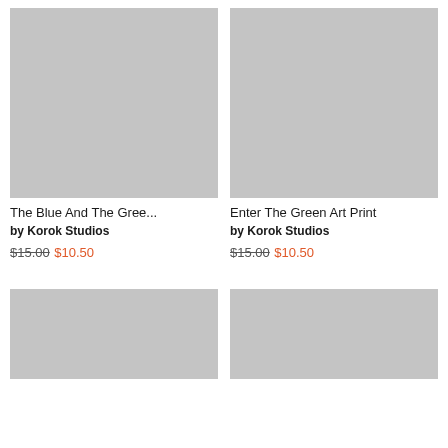[Figure (photo): Gray placeholder product image for The Blue And The Gree...]
The Blue And The Gree...
by Korok Studios
$15.00  $10.50
[Figure (photo): Gray placeholder product image for Enter The Green Art Print]
Enter The Green Art Print
by Korok Studios
$15.00  $10.50
[Figure (photo): Gray placeholder product image bottom left]
[Figure (photo): Gray placeholder product image bottom right]